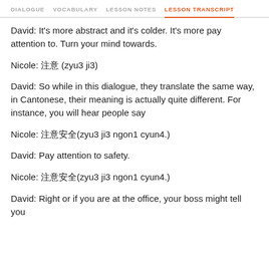DIALOGUE   VOCABULARY   LESSON NOTES   LESSON TRANSCRIPT
David: It's more abstract and it's colder. It's more pay attention to. Turn your mind towards.
Nicole: 注意 (zyu3 ji3)
David: So while in this dialogue, they translate the same way, in Cantonese, their meaning is actually quite different. For instance, you will hear people say
Nicole: 注意安全(zyu3 ji3 ngon1 cyun4.)
David: Pay attention to safety.
Nicole: 注意安全(zyu3 ji3 ngon1 cyun4.)
David: Right or if you are at the office, your boss might tell you